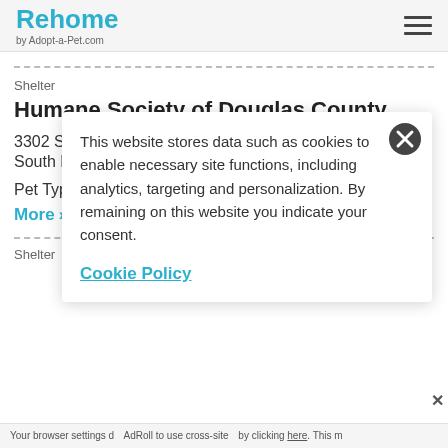Rehome by Adopt-a-Pet.com
Shelter
Humane Society of Douglas County
3302 S Humane Society Rd
South Range...
Pet Types: D...
More >
Shelter
This website stores data such as cookies to enable necessary site functions, including analytics, targeting and personalization. By remaining on this website you indicate your consent.
Cookie Policy
Your browser settings d... AdRoll to use cross-site... by clicking here. This m...